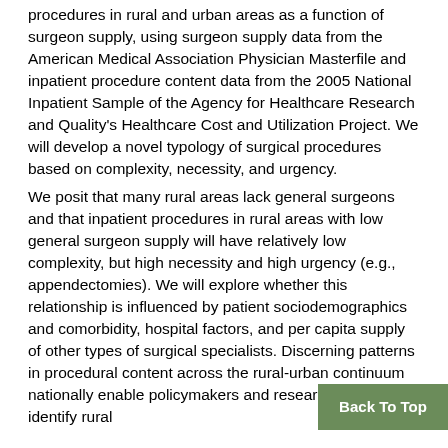procedures in rural and urban areas as a function of surgeon supply, using surgeon supply data from the American Medical Association Physician Masterfile and inpatient procedure content data from the 2005 National Inpatient Sample of the Agency for Healthcare Research and Quality's Healthcare Cost and Utilization Project. We will develop a novel typology of surgical procedures based on complexity, necessity, and urgency.
We posit that many rural areas lack general surgeons and that inpatient procedures in rural areas with low general surgeon supply will have relatively low complexity, but high necessity and high urgency (e.g., appendectomies). We will explore whether this relationship is influenced by patient sociodemographics and comorbidity, hospital factors, and per capita supply of other types of surgical specialists. Discerning patterns in procedural content across the rural-urban continuum nationally enable policymakers and researchers to identify rural